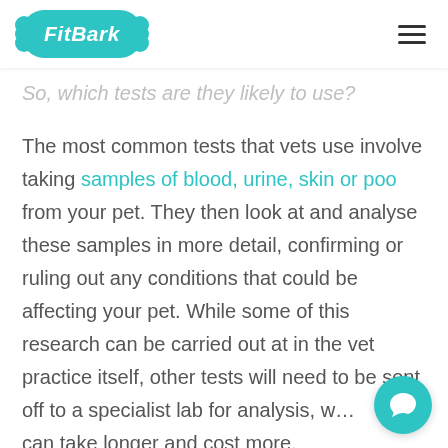FitBark
So, which tests are they likely to use?
The most common tests that vets use involve taking samples of blood, urine, skin or poo from your pet. They then look at and analyse these samples in more detail, confirming or ruling out any conditions that could be affecting your pet. While some of this research can be carried out at in the vet practice itself, other tests will need to be sent off to a specialist lab for analysis, w… can take longer and cost more.